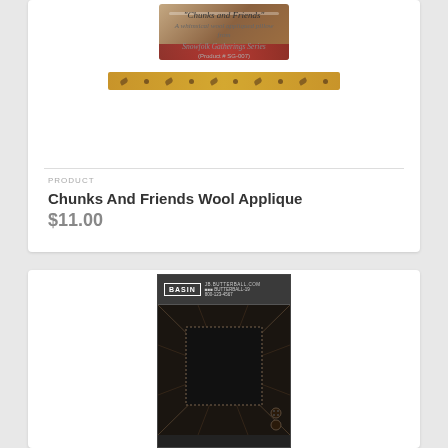[Figure (photo): Product image of Chunks and Friends wool applique pillow pattern with decorative border]
"Chunks and Friends"
A whimsical wool appliqued pillow
from
Snowfolk Gatherings Series
(Product # SG-007)
PRODUCT
Chunks And Friends Wool Applique
$11.00
[Figure (photo): Product image of Basin brand fabric/quilt kit with dark geometric quilted pattern and buttons]